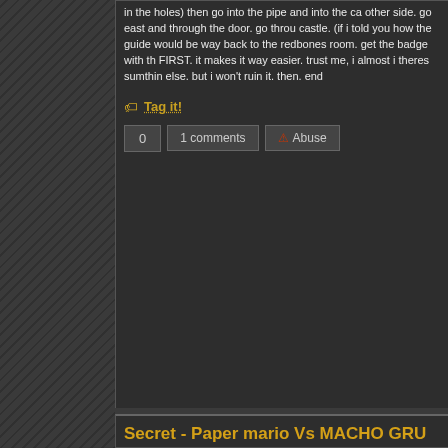in the holes) then go into the pipe and into the castle. other side. go east and through the door. go through the castle. (if i told you how the guide would be way) back to the redbones room. get the badge with the FIRST. it makes it way easier. trust me, i almost i theres sumthin else. but i won't ruin it. then. end
Tag it!
0  1 comments  Abuse
Secret - Paper mario Vs MACHO GRU...
by pyromasteromegaz Oct 10, 2008
HP 60
There is one move that is an ABSOLUTE NECE Clock Out. Start the battle by using this spell and instead of the one near Mario and your partner! S Power Bounce and Body Slam or Ground Pound both good choices for this fight. Goombella's Mu is a real lot. When he does regain his movement b strong. What he'll do is cast a spell to give him tv then increase his attack power by 2 and then do b got such a head start on him that this won't be a p T...